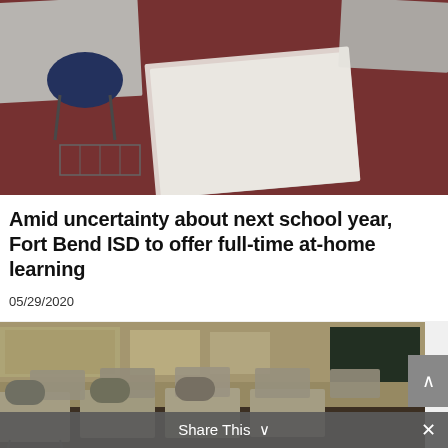[Figure (photo): Empty classroom with student desks and chairs, reddish/maroon floor, white desk tops visible from above]
Amid uncertainty about next school year, Fort Bend ISD to offer full-time at-home learning
05/29/2020
[Figure (photo): Empty classroom with rows of student desks and attached chairs, chalkboard visible in background, warm yellowish tones]
Share This ∨